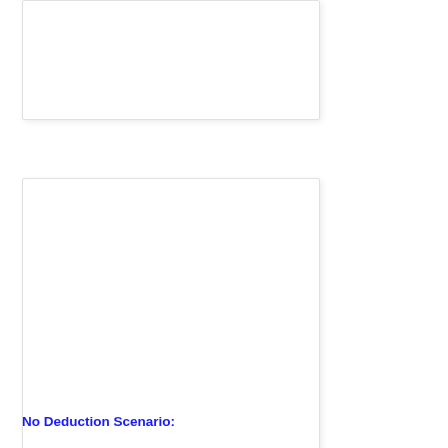[Figure (other): White card/box area 1 - empty white rounded rectangle with shadow]
[Figure (other): White card/box area 2 - empty white rounded rectangle with shadow]
[Figure (other): White card/box area 3 - empty white rounded rectangle with shadow]
No Deduction Scenario: